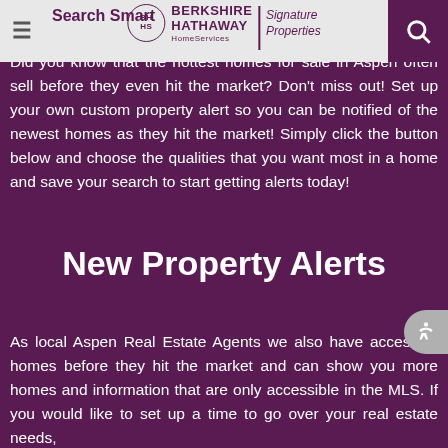Search Smart
[Figure (logo): Berkshire Hathaway HomeServices Signature Properties logo]
Did you know that the hottest homes for sale in Aspen often sell before they even hit the market? Don't miss out! Set up your own custom property alert so you can be notified of the newest homes as they hit the market! Simply click the button below and choose the qualities that you want most in a home and save your search to start getting alerts today!
New Property Alerts
As local Aspen Real Estate Agents we also have access to homes before they hit the market and can show you more homes and information that are only accessible in the MLS. If you would like to set up a time to go over your real estate needs,